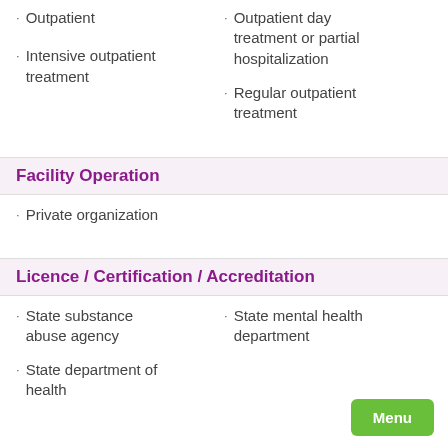Outpatient
Outpatient day treatment or partial hospitalization
Intensive outpatient treatment
Regular outpatient treatment
Facility Operation
Private organization
Licence / Certification / Accreditation
State substance abuse agency
State mental health department
State department of health